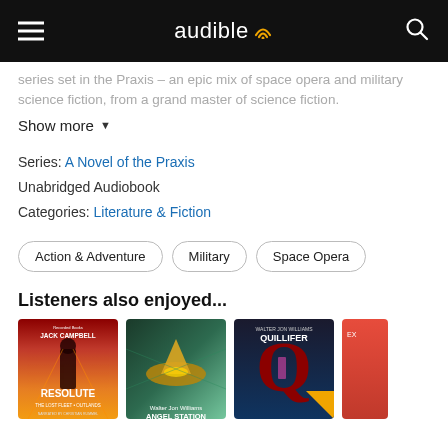audible
series set in the Praxis – an epic mix of space opera and military science fiction, from a grand master of science fiction.
Show more
Series: A Novel of the Praxis
Unabridged Audiobook
Categories: Literature & Fiction
Action & Adventure
Military
Space Opera
Listeners also enjoyed...
[Figure (photo): Book cover: Resolute – The Lost Fleet: Outlands by Jack Campbell, Recorded Books]
[Figure (photo): Book cover: Angel Station by Walter Jon Williams]
[Figure (photo): Book cover: Quillifer by Walter Jon Williams]
[Figure (photo): Book cover: partially visible, label starts with EX]